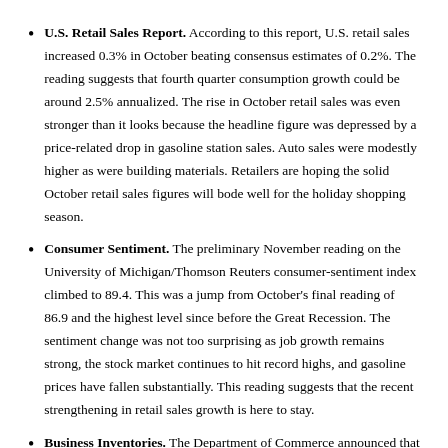U.S. Retail Sales Report. According to this report, U.S. retail sales increased 0.3% in October beating consensus estimates of 0.2%. The reading suggests that fourth quarter consumption growth could be around 2.5% annualized. The rise in October retail sales was even stronger than it looks because the headline figure was depressed by a price-related drop in gasoline station sales. Auto sales were modestly higher as were building materials. Retailers are hoping the solid October retail sales figures will bode well for the holiday shopping season.
Consumer Sentiment. The preliminary November reading on the University of Michigan/Thomson Reuters consumer-sentiment index climbed to 89.4. This was a jump from October's final reading of 86.9 and the highest level since before the Great Recession. The sentiment change was not too surprising as job growth remains strong, the stock market continues to hit record highs, and gasoline prices have fallen substantially. This reading suggests that the recent strengthening in retail sales growth is here to stay.
Business Inventories. The Department of Commerce announced that business inventories rose 0.3% in September and are up 5.3% from the